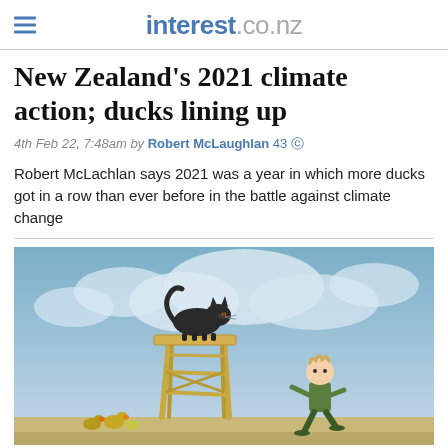interest.co.nz
New Zealand's 2021 climate action; ducks lining up
4th Feb 22, 7:48am by Robert McLaughlan 43
Robert McLachlan says 2021 was a year in which more ducks got in a row than ever before in the battle against climate change
[Figure (illustration): Cartoon illustration showing a black cat perched on top of a wooden stepladder/stool, with a child in a green shirt walking nearby. On the ground are some small objects including what appears to be ducks. Background shows a cloudy sky.]